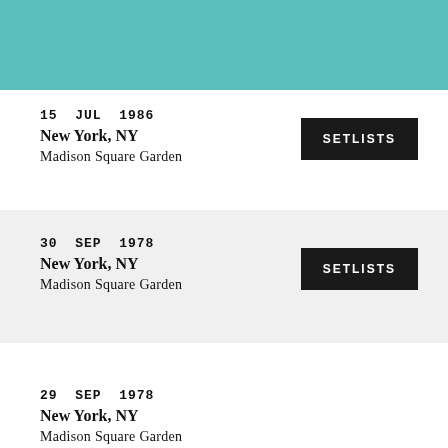15 JUL 1986
New York, NY
Madison Square Garden
SETLISTS
30 SEP 1978
New York, NY
Madison Square Garden
SETLISTS
29 SEP 1978
New York, NY
Madison Square Garden